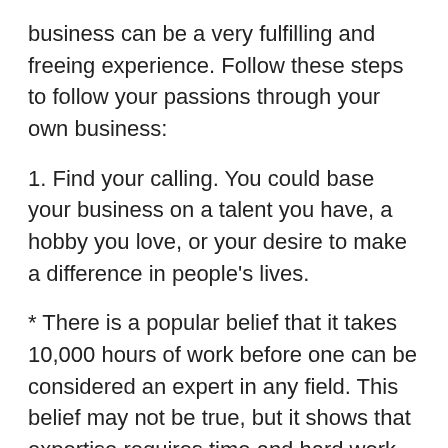business can be a very fulfilling and freeing experience. Follow these steps to follow your passions through your own business:
1. Find your calling. You could base your business on a talent you have, a hobby you love, or your desire to make a difference in people's lives.
* There is a popular belief that it takes 10,000 hours of work before one can be considered an expert in any field. This belief may not be true, but it shows that expertise requires time and hard work.
2. Register your business and apply for necessary licenses. Registering your home business is a very simple process.
* All you need to do is register your business name